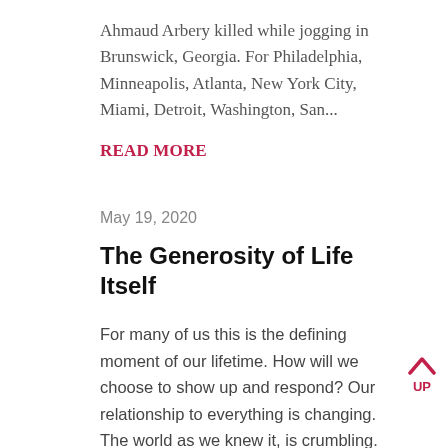Ahmaud Arbery killed while jogging in Brunswick, Georgia. For Philadelphia, Minneapolis, Atlanta, New York City, Miami, Detroit, Washington, San...
READ MORE
May 19, 2020
The Generosity of Life Itself
For many of us this is the defining moment of our lifetime. How will we choose to show up and respond? Our relationship to everything is changing. The world as we knew it, is crumbling. More than ever, we need to know that we can trust our deepest intuition to guide us. Now is the